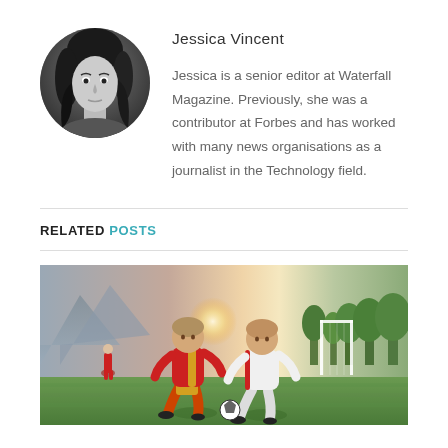[Figure (photo): Circular black-and-white headshot of a young woman with dark hair, used as author profile photo for Jessica Vincent]
Jessica Vincent
Jessica is a senior editor at Waterfall Magazine. Previously, she was a contributor at Forbes and has worked with many news organisations as a journalist in the Technology field.
RELATED POSTS
[Figure (photo): Two soccer players competing for the ball on a football pitch; player in red and yellow jersey challenges player in white jersey; goal and trees visible in background; dramatic sky with warm glow]